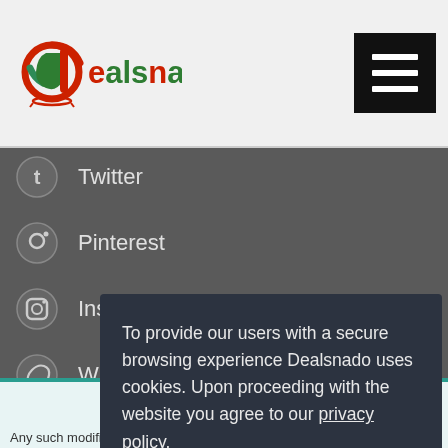[Figure (logo): Dealsnado logo with stylized 'd' in red and green]
[Figure (other): Hamburger menu icon (three horizontal white lines on black background)]
Twitter
Pinterest
Instagram
Whatsapp
To provide our users with a secure browsing experience Dealsnado uses cookies. Upon proceeding with the website you agree to our privacy policy.
Okay, Thanks
Any such modifications shall become effective immediately